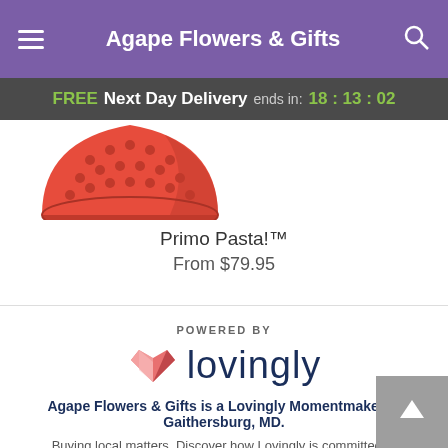Agape Flowers & Gifts
FREE Next Day Delivery ends in: 18 : 13 : 02
[Figure (photo): Partial view of a red pasta bowl product image — Primo Pasta! bowl in red colander style]
Primo Pasta!™
From $79.95
[Figure (logo): Lovingly logo with pink heart/book icon and the word 'lovingly' in dark navy text, preceded by 'POWERED BY' label]
Agape Flowers & Gifts is a Lovingly Momentmaker in Gaithersburg, MD.
Buying local matters. Discover how Lovingly is committed to strengthening relationships by helping local florists market, sell, and deliver their floral